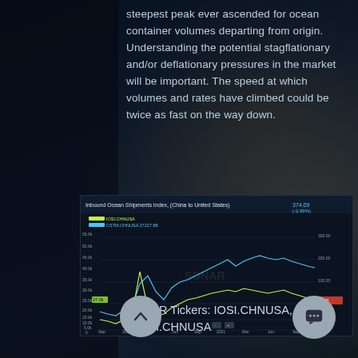steepest peak ever ascended for ocean container volumes departing from origin. Understanding the potential stagflationary and/or deflationary pressures in the market will be important. The speed at which volumes and rates have climbed could be twice as fast on the way down.
[Figure (line-chart): Inbound Ocean Shipments Index, (China to United States)]
SONAR Tickers: IOSI.CHNUSA, CSTM.CHNUSA